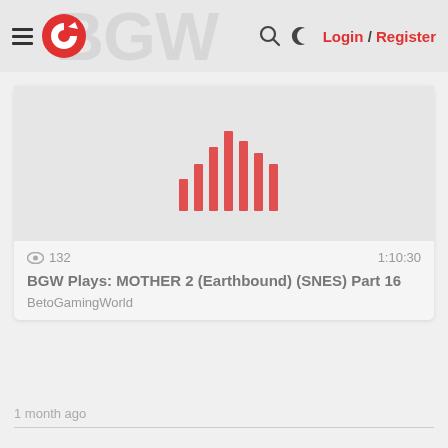Login / Register
[Figure (screenshot): Video thumbnail area showing audio waveform bars in red on light gray background]
132
1:10:30
BGW Plays: MOTHER 2 (Earthbound) (SNES) Part 16
BetoGamingWorld
1 month ago